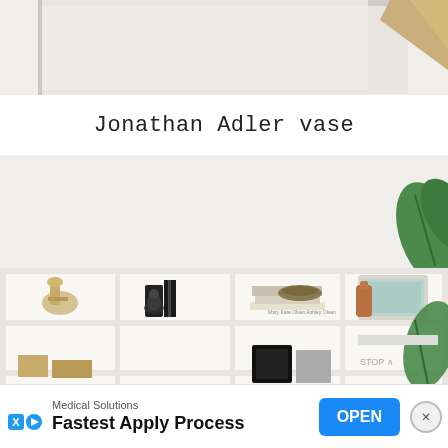[Figure (photo): Top portion of a shelf scene with neutral/white background and partial golden/tan object in top right corner]
Jonathan Adler vase
[Figure (photo): White cubby bookshelf unit filled with decorative objects: gold figurine, black vase, stacked books, decorative bowl, copper bottle, framed art, green tropical leaf, and various decorative objects on lower shelves]
Medical Solutions
Fastest Apply Process
OPEN